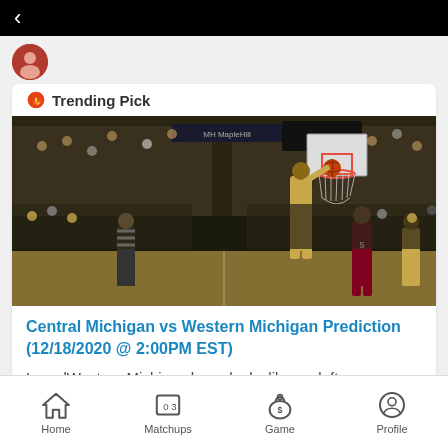< (back navigation)
Trending Pick
[Figure (photo): Basketball game photo showing a player dunking at the net, referee in foreground, crowd and team members in background, players in gold and maroon uniforms]
Central Michigan vs Western Michigan Prediction (12/18/2020 @ 2:00PM EST)
LovedWestern Michigan here, looks like we left money on the table.
Home | Matchups | Game | Profile